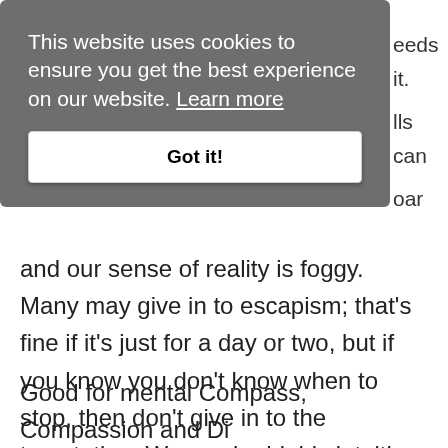This website uses cookies to ensure you get the best experience on our website. Learn more
Got it!
eeds it. lls can oar
and our sense of reality is foggy. Many may give in to escapism; that's fine if it's just for a day or two, but if you know you don't know when to stop, then don't give in to the temptation. We can be highly intuitive and emotional, and our sense of boundaries can be off.
Good for mental Compass, Compassion and Di...